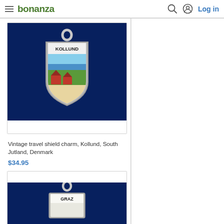bonanza — Log in
[Figure (photo): Vintage travel shield charm for Kollund, South Jutland, Denmark. Silver shield-shaped charm with enamel design showing 'KOLLUND' text at top, blue water/sea in background, green trees and red house in foreground, on dark navy blue background.]
Vintage travel shield charm, Kollund, South Jutland, Denmark
$34.95
[Figure (photo): Vintage travel charm for Graz, partially visible. Shows top of silver charm with 'GRAZ' text visible, on dark navy blue background. Charm appears to be shield or scroll shaped.]